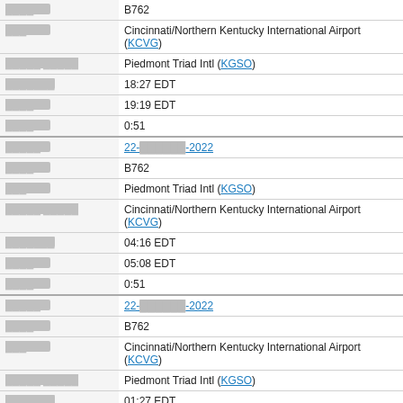| Label | Value |
| --- | --- |
| ████ | B762 |
| ███ | Cincinnati/Northern Kentucky International Airport (KCVG) |
| █████ █████ | Piedmont Triad Intl (KGSO) |
| ███████ | 18:27 EDT |
| ████ | 19:19 EDT |
| ████ | 0:51 |
| █████ | 22-██████-2022 |
| ████ | B762 |
| ███ | Piedmont Triad Intl (KGSO) |
| █████ █████ | Cincinnati/Northern Kentucky International Airport (KCVG) |
| ███████ | 04:16 EDT |
| ████ | 05:08 EDT |
| ████ | 0:51 |
| █████ | 22-██████-2022 |
| ████ | B762 |
| ███ | Cincinnati/Northern Kentucky International Airport (KCVG) |
| █████ █████ | Piedmont Triad Intl (KGSO) |
| ███████ | 01:27 EDT |
| ████ | 02:30 EDT |